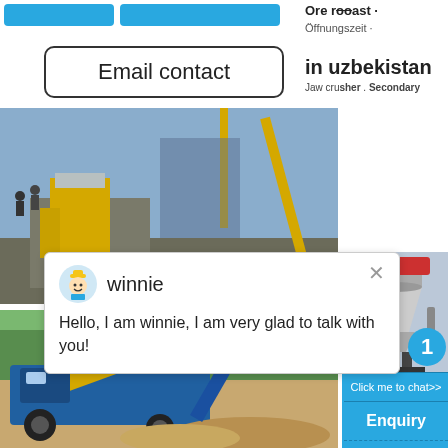Ore roast · Öffnungszeit · Secondary
in uzbekistan
Jaw crusher . Secondary
Email contact
[Figure (photo): Construction site with yellow and blue heavy crushing/screening machinery and cranes]
winnie
Hello, I am winnie, I am very glad to talk with you!
[Figure (photo): Blue and yellow mobile screening/crushing machine working on sandy ground with trees in background]
[Figure (photo): Industrial cone crusher machine image in sidebar]
1
Click me to chat>>
Enquiry
mumumugoods